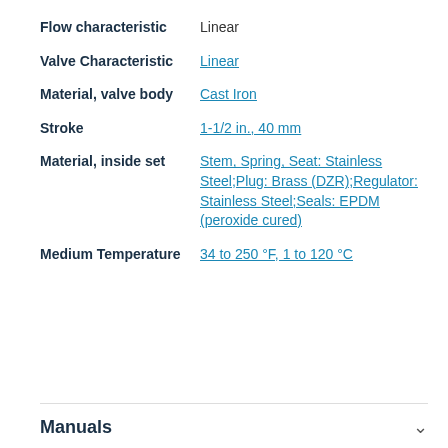Flow characteristic: Linear
Valve Characteristic: Linear
Material, valve body: Cast Iron
Stroke: 1-1/2 in., 40 mm
Material, inside set: Stem, Spring, Seat: Stainless Steel;Plug: Brass (DZR);Regulator: Stainless Steel;Seals: EPDM (peroxide cured)
Medium Temperature: 34 to 250 °F, 1 to 120 °C
Manuals